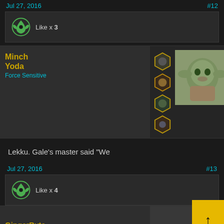Jul 27, 2016
#12
Like x 3
Minch Yoda
Force Sensitive
Lekku. Gale's master said "We
Jul 27, 2016
#13
Like x 4
GingerByte
Guest